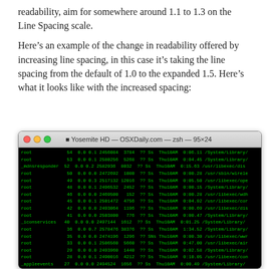readability, aim for somewhere around 1.1 to 1.3 on the Line Spacing scale.
Here's an example of the change in readability offered by increasing line spacing, in this case it's taking the line spacing from the default of 1.0 to the expanded 1.5. Here's what it looks like with the increased spacing:
[Figure (screenshot): Terminal window titled 'Yosemite HD — OSXDaily.com — zsh — 95×24' showing a list of processes with columns for user, PID, CPU, memory, VSZ, RSS, TT, STAT, STARTED, TIME, and COMMAND. Processes listed include root, _mdnsresponder, _iconservices, _appleevents, and others with green text on black background.]